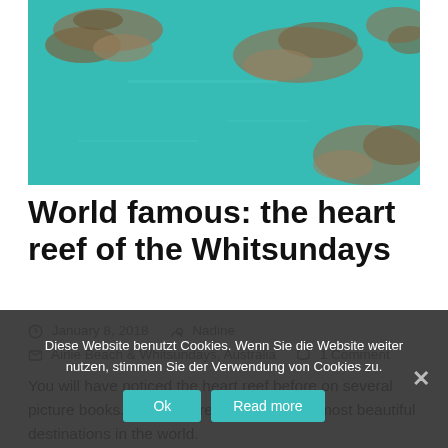[Figure (photo): Aerial view of heart reef / coral reef formations in turquoise blue-green water, viewed from above. The reef shapes are scattered across shallow tropical ocean water.]
World famous: the heart reef of the Whitsundays
January 8, 2018   Nadine   Airlie Beach & Whitsundays, Australia   1 Comment
You will have noticed the heart reef before on several picture books. The heart reef is one of the most beautiful destinations in the world.
This reef is located southeast of Airlie Beach and has
Diese Website benutzt Cookies. Wenn Sie die Website weiter nutzen, stimmen Sie der Verwendung von Cookies zu.